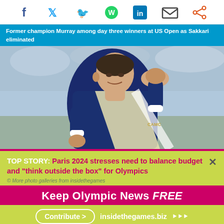[Figure (other): Social media sharing icons: Facebook, Twitter, WhatsApp, LinkedIn, Email, Share]
Former champion Murray among day three winners at US Open as Sakkari eliminated
[Figure (photo): Andy Murray in blue tennis outfit celebrating with fist raised at US Open]
TOP STORY: Paris 2024 stresses need to balance budget and "think outside the box" for Olympics
More photo galleries from insidethegames
Keep Olympic News FREE
Contribute > insidethegames.biz >>>